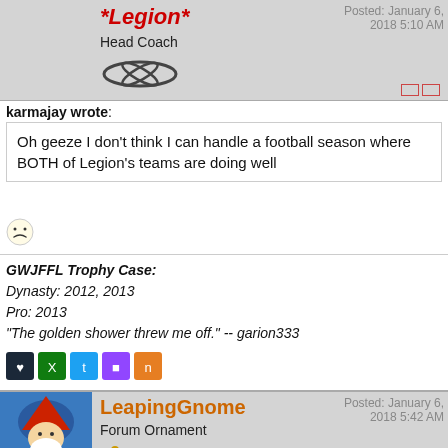[Figure (photo): Avatar: caution radiation area yellow sign with radiation symbol]
*Legion* Head Coach
Posted: January 6, 2018 5:10 AM
karmajay wrote:
Oh geeze I don't think I can handle a football season where BOTH of Legion's teams are doing well
[Figure (illustration): Frowning face emoticon]
GWJFFL Trophy Case: Dynasty: 2012, 2013 Pro: 2013 "The golden shower threw me off." -- garion333
[Figure (illustration): Social media icons: Steam, Xbox, Twitter, Twitch, and another icon]
[Figure (illustration): Avatar: LeapingGnome gnome character illustration]
LeapingGnome Forum Ornament
Posted: January 6, 2018 5:42 AM
I am still in wait and see mode, we need more than five games to tell anything